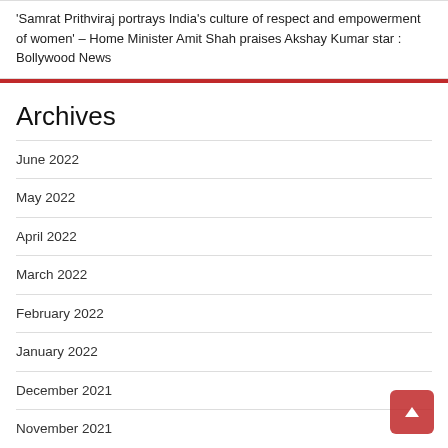'Samrat Prithviraj portrays India's culture of respect and empowerment of women' – Home Minister Amit Shah praises Akshay Kumar star : Bollywood News
Archives
June 2022
May 2022
April 2022
March 2022
February 2022
January 2022
December 2021
November 2021
October 2021